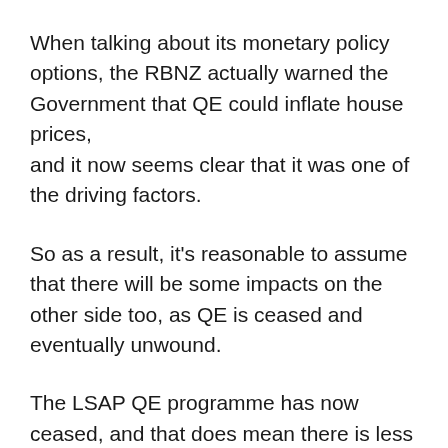When talking about its monetary policy options, the RBNZ actually warned the Government that QE could inflate house prices, and it now seems clear that it was one of the driving factors.
So as a result, it's reasonable to assume that there will be some impacts on the other side too, as QE is ceased and eventually unwound.
The LSAP QE programme has now ceased, and that does mean there is less stimulus coming through those three channels, and less liquidity chasing asset prices, including housing.
Top ↑
We need to be clear about the phasing of this